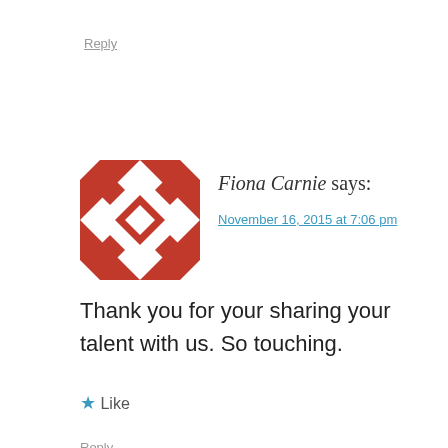Reply
Fiona Carnie says:
November 16, 2015 at 7:06 pm
Thank you for your sharing your talent with us. So touching.
★ Like
Reply
Leave a Reply
Your email address will not be published. Required